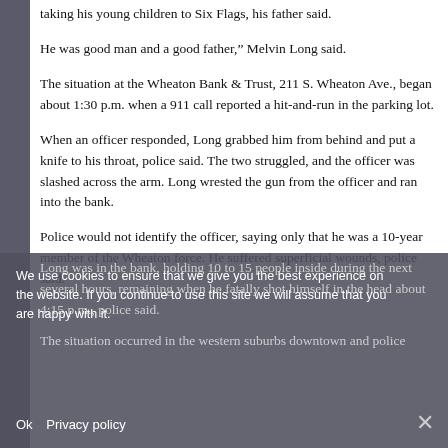taking his young children to Six Flags, his father said.
He was good man and a good father,” Melvin Long said.
The situation at the Wheaton Bank & Trust, 211 S. Wheaton Ave., began about 1:30 p.m. when a 911 call reported a hit-and-run in the parking lot.
When an officer responded, Long grabbed him from behind and put a knife to his throat, police said. The two struggled, and the officer was slashed across the arm. Long wrested the gun from the officer and ran into the bank.
Police would not identify the officer, saying only that he was a 10-year member of the Wheaton force. He suffered superficial wounds, police said.
We use cookies to ensure that we give you the best experience on the website. If you continue to use this site we will assume that you are happy with it.
Long was in the bank, holding 10 to 15 people inside during the next several hours, remaining when he fatally shot himself in the head about 4:15 p.m., police said.
The situation occurred in the western suburbs downtown and police...